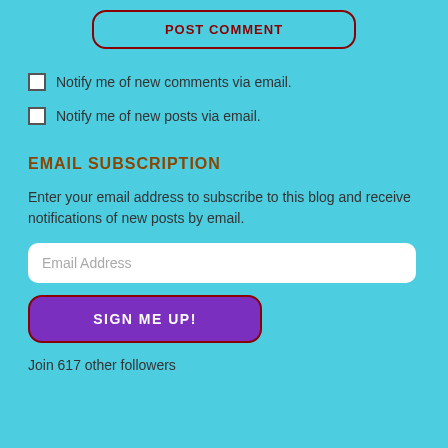[Figure (other): POST COMMENT button with dark red border and dark red uppercase text on teal background]
Notify me of new comments via email.
Notify me of new posts via email.
EMAIL SUBSCRIPTION
Enter your email address to subscribe to this blog and receive notifications of new posts by email.
[Figure (other): Email Address input field, white rounded rectangle]
[Figure (other): SIGN ME UP! button, purple with dark red border]
Join 617 other followers